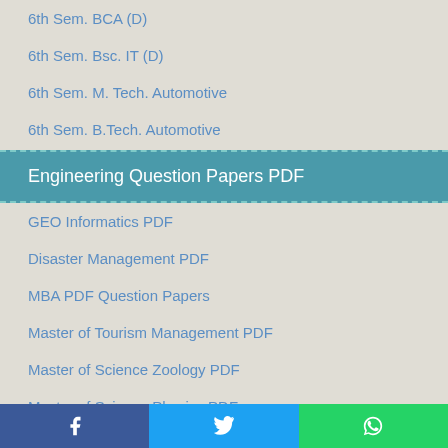6th Sem. BCA (D)
6th Sem. Bsc. IT (D)
6th Sem. M. Tech. Automotive
6th Sem. B.Tech. Automotive
Engineering Question Papers PDF
GEO Informatics PDF
Disaster Management PDF
MBA PDF Question Papers
Master of Tourism Management PDF
Master of Science Zoology PDF
Master of Science Physics PDF
Master of Science Math PDF
Master of Science IT